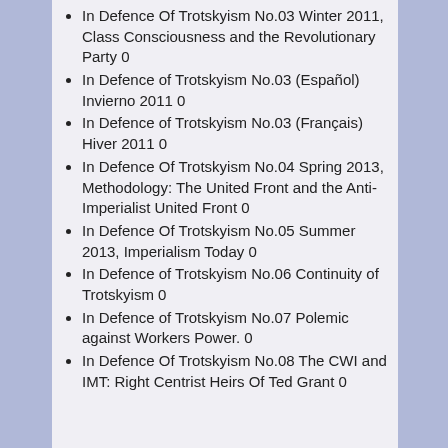In Defence Of Trotskyism No.03 Winter 2011, Class Consciousness and the Revolutionary Party 0
In Defence of Trotskyism No.03 (Español) Invierno 2011 0
In Defence of Trotskyism No.03 (Français) Hiver 2011 0
In Defence Of Trotskyism No.04 Spring 2013, Methodology: The United Front and the Anti-Imperialist United Front 0
In Defence Of Trotskyism No.05 Summer 2013, Imperialism Today 0
In Defence of Trotskyism No.06 Continuity of Trotskyism 0
In Defence of Trotskyism No.07 Polemic against Workers Power. 0
In Defence Of Trotskyism No.08 The CWI and IMT: Right Centrist Heirs Of Ted Grant 0